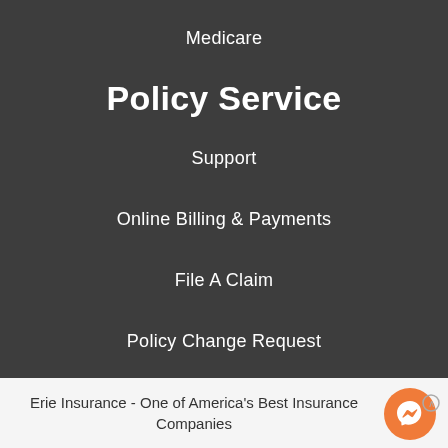Medicare
Policy Service
Support
Online Billing & Payments
File A Claim
Policy Change Request
Erie Insurance - One of America's Best Insurance Companies